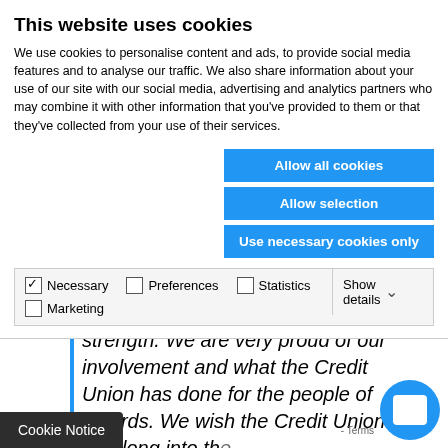This website uses cookies
We use cookies to personalise content and ads, to provide social media features and to analyse our traffic. We also share information about your use of our site with our social media, advertising and analytics partners who may combine it with other information that you've provided to them or that they've collected from your use of their services.
Allow all cookies
Allow selection
Use necessary cookies only
| ✓ Necessary | ☐ Preferences | ☐ Statistics | Show details ▾ |
| ☐ Marketing |  |  |  |
Swords and its gone from strength to strength. We are very proud of our involvement and what the Credit Union has done for the people of Swords. We wish the Credit Union well long into the future and will never forget our humble beginnings and our first £50.00 loan!!
Cookie Notice